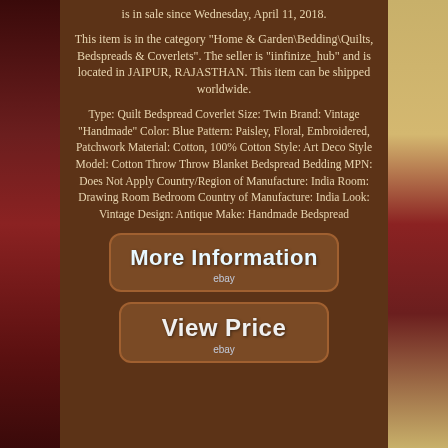is in sale since Wednesday, April 11, 2018.
This item is in the category "Home & Garden\Bedding\Quilts, Bedspreads & Coverlets". The seller is "iinfinize_hub" and is located in JAIPUR, RAJASTHAN. This item can be shipped worldwide.
Type: Quilt Bedspread Coverlet Size: Twin Brand: Vintage "Handmade" Color: Blue Pattern: Paisley, Floral, Embroidered, Patchwork Material: Cotton, 100% Cotton Style: Art Deco Style Model: Cotton Throw Throw Blanket Bedspread Bedding MPN: Does Not Apply Country/Region of Manufacture: India Room: Drawing Room Bedroom Country of Manufacture: India Look: Vintage Design: Antique Make: Handmade Bedspread
[Figure (other): More Information button with eBay logo]
[Figure (other): View Price button with eBay logo]